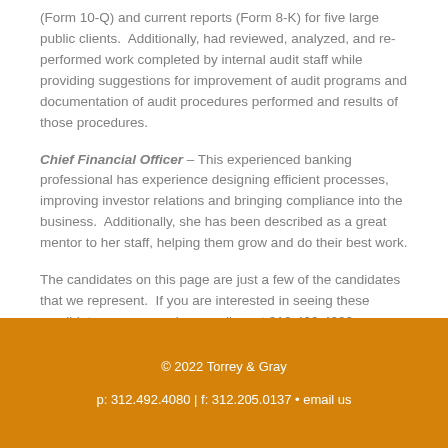(Form 10-Q) and current reports (Form 8-K) for five large public clients.  Additionally, had reviewed, analyzed, and re-performed work completed by internal audit staff while providing suggestions for improvement of audit programs and documentation of audit procedures performed and results of those procedures.
Chief Financial Officer – This experienced banking professional has experience designing efficient processes, improving investor relations and bringing compliance into the business.  Additionally, she has been described as a great mentor to her staff, helping them grow and do their best work.
The candidates on this page are just a few of the candidates that we represent.  If you are interested in seeing these candidates resumes, please call us at 312-492-4080  or e-mail us at careers@torreygray.com.
© 2022 Torrey & Gray
p: 312.492.4080 | f: 312.205.0137 • email us